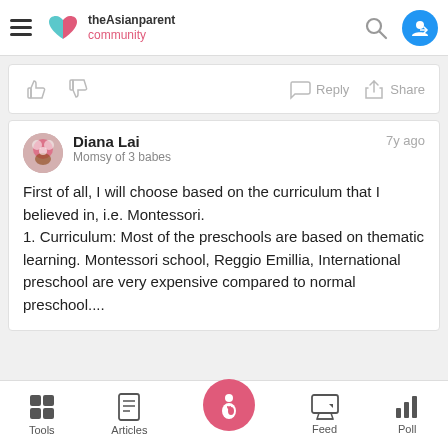theAsianparent community
[Figure (screenshot): Action bar with thumbs up, thumbs down, Reply and Share icons]
Diana Lai
Momsy of 3 babes
7y ago

First of all, I will choose based on the curriculum that I believed in, i.e. Montessori.
1. Curriculum: Most of the preschools are based on thematic learning. Montessori school, Reggio Emillia, International preschool are very expensive compared to normal preschool....
Tools  Articles  Feed  Poll